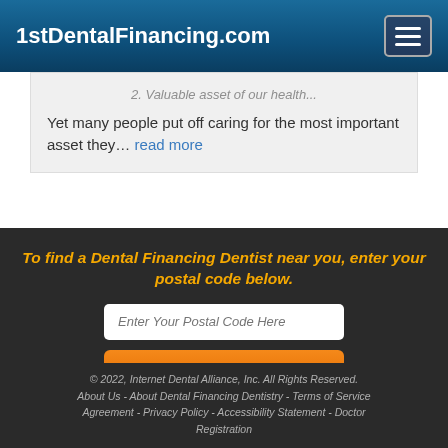1stDentalFinancing.com
Yet many people put off caring for the most important asset they… read more
To find a Dental Financing Dentist near you, enter your postal code below.
Enter Your Postal Code Here
Click Here To Find a Dentist
© 2022, Internet Dental Alliance, Inc. All Rights Reserved. About Us - About Dental Financing Dentistry - Terms of Service Agreement - Privacy Policy - Accessibility Statement - Doctor Registration